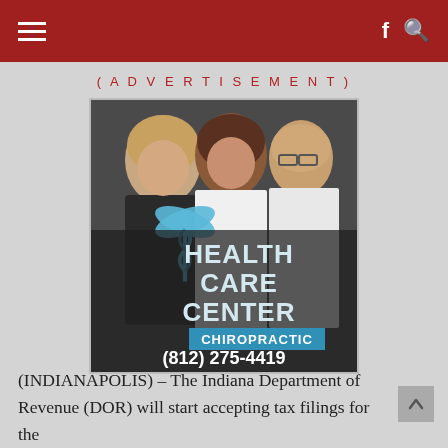Navigation bar with hamburger menu and f Q icons
(ADVERTISEMENT)
[Figure (photo): Health Care Center Chiropractic advertisement photo showing three smiling people (two women and one man) with a caduceus symbol and text: HEALTH CARE CENTER CHIROPRACTIC (812) 275-4419 TheHealthCareCenter.net]
(INDIANAPOLIS) – The Indiana Department of Revenue (DOR) will start accepting tax filings for the